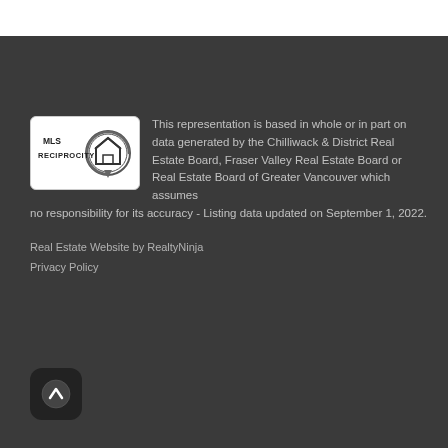[Figure (logo): MLS Reciprocity logo — white rounded rectangle with house icon and text 'MLS RECIPROCITY']
This representation is based in whole or in part on data generated by the Chilliwack & District Real Estate Board, Fraser Valley Real Estate Board or Real Estate Board of Greater Vancouver which assumes no responsibility for its accuracy - Listing data updated on September 1, 2022.
Real Estate Website by RealtyNinja
Privacy Policy
[Figure (illustration): Scroll-to-top button: dark rounded square with upward arrow icon]